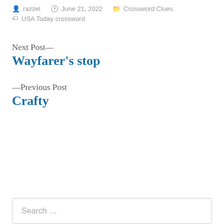razzel   June 21, 2022   Crossword Clues
USA Today crossword
Next Post—
Wayfarer's stop
—Previous Post
Crafty
Search …